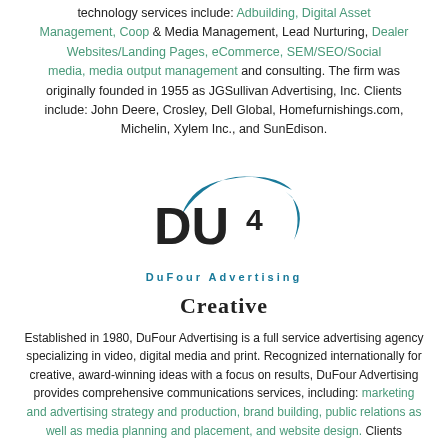technology services include: Adbuilding, Digital Asset Management, Coop & Media Management, Lead Nurturing, Dealer Websites/Landing Pages, eCommerce, SEM/SEO/Social media, media output management and consulting. The firm was originally founded in 1955 as JGSullivan Advertising, Inc. Clients include: John Deere, Crosley, Dell Global, Homefurnishings.com, Michelin, Xylem Inc., and SunEdison.
[Figure (logo): DU4 DuFour Advertising logo with teal swoosh arc above the text and 'DuFour Advertising' tagline below in teal spaced letters]
Creative
Established in 1980, DuFour Advertising is a full service advertising agency specializing in video, digital media and print. Recognized internationally for creative, award-winning ideas with a focus on results, DuFour Advertising provides comprehensive communications services, including: marketing and advertising strategy and production, brand building, public relations as well as media planning and placement, and website design. Clients